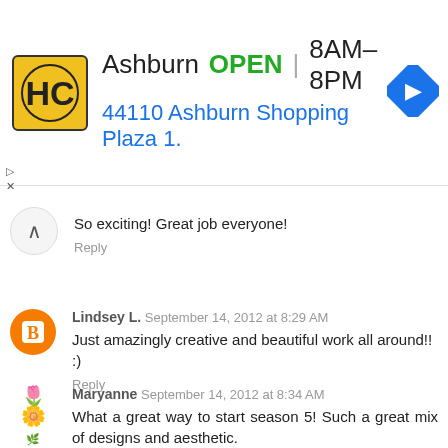[Figure (screenshot): Advertisement banner for HC store in Ashburn. Shows HC logo in yellow square, text 'Ashburn OPEN 8AM-8PM' and address '44110 Ashburn Shopping Plaza 1.' with a blue navigation arrow icon.]
So exciting! Great job everyone!
Reply
Lindsey L. September 14, 2012 at 8:29 AM
Just amazingly creative and beautiful work all around!! :)
Reply
Maryanne September 14, 2012 at 8:34 AM
What a great way to start season 5! Such a great mix of designs and aesthetic.
Reply